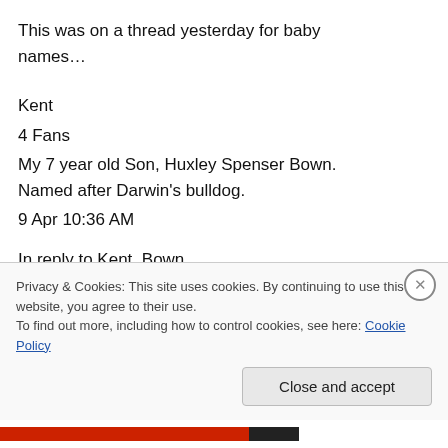This was on a thread yesterday for baby names…
Kent
4 Fans
My 7 year old Son, Huxley Spenser Bown. Named after Darwin's bulldog.
9 Apr 10:36 AM
In reply to Kent_Bown
Eric S. (alex98)
Privacy & Cookies: This site uses cookies. By continuing to use this website, you agree to their use.
To find out more, including how to control cookies, see here: Cookie Policy